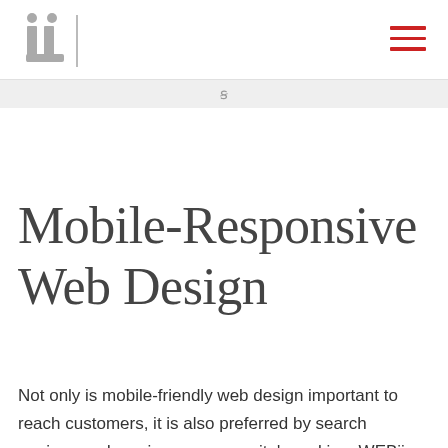[Figure (logo): WEBii logo with stylized 'wi' characters in gray and a vertical divider line]
[Figure (other): Hamburger menu icon with three red horizontal lines in the top-right corner]
ꞩ
Mobile-Responsive Web Design
Not only is mobile-friendly web design important to reach customers, it is also preferred by search engines and can improve your site's ranking. WEBii